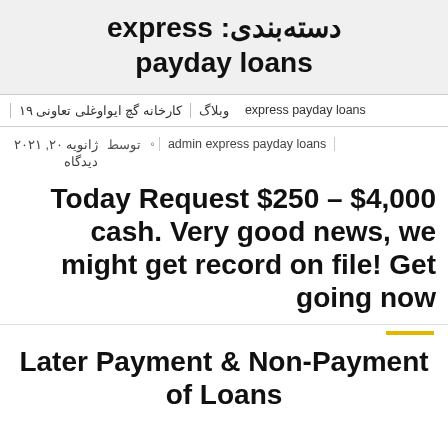دسته‌بندی: express payday loans
کارخانه گچ ایواوغلی تعاونی ۱۹ / وبلاگ / express payday loans
ژانویه ۲۰, ۲۰۲۱ توسط ۰ دیدگاه admin express payday loans
Today Request $250 – $4,000 cash. Very good news, we might get record on file! Get going now
Later Payment & Non-Payment of Loans